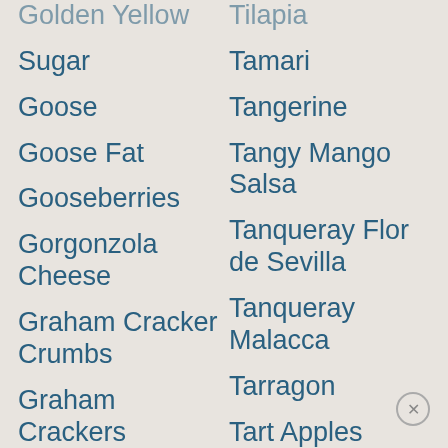Golden Yellow
Sugar
Goose
Goose Fat
Gooseberries
Gorgonzola Cheese
Graham Cracker Crumbs
Graham Crackers
Granny Smith Apples
Tilapia
Tamari
Tangerine
Tangy Mango Salsa
Tanqueray Flor de Sevilla
Tanqueray Malacca
Tarragon
Tart Apples
Tequila
Thai Basil